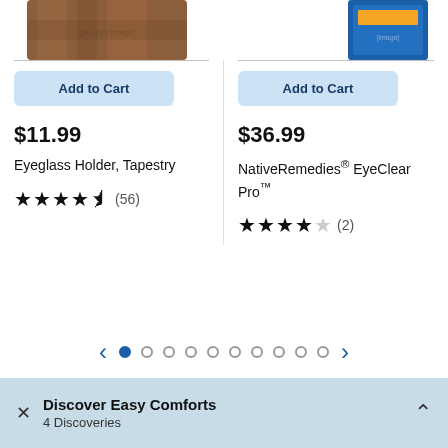[Figure (photo): Partial product image top-left (eyeglass holder tapestry pattern)]
[Figure (photo): Partial product image top-right (NativeRemedies EyeClear Pro packaging)]
Add to Cart
Add to Cart
$11.99
Eyeglass Holder, Tapestry
★★★★½ (56)
$36.99
NativeRemedies® EyeClear Pro™
★★★★☆ (2)
Discover Easy Comforts
4 Discoveries